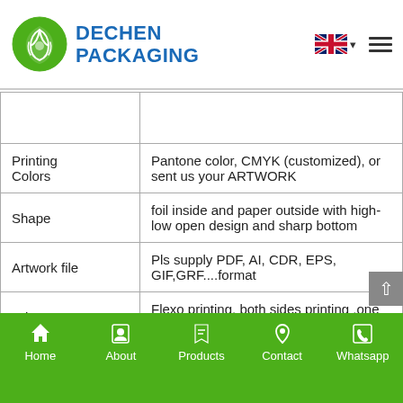DECHEN PACKAGING
|  |  |
| --- | --- |
|  |  |
| Printing Colors | Pantone color, CMYK (customized), or sent us your ARTWORK |
| Shape | foil inside and paper outside with high-low open design and sharp bottom |
| Artwork file | Pls supply PDF, AI, CDR, EPS, GIF,GRF....format |
| Print way | Flexo printing, both sides printing ,one side printing,also without printing |
Home | About | Products | Contact | Whatsapp